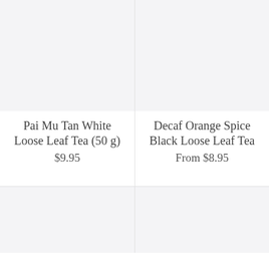[Figure (photo): Product image placeholder for Pai Mu Tan White Loose Leaf Tea, light gray background]
Pai Mu Tan White Loose Leaf Tea (50 g)
$9.95
[Figure (photo): Product image placeholder for Decaf Orange Spice Black Loose Leaf Tea, light gray background]
Decaf Orange Spice Black Loose Leaf Tea
From $8.95
[Figure (photo): Product image placeholder bottom-left, light gray background]
[Figure (photo): Product image placeholder bottom-right, light gray background]